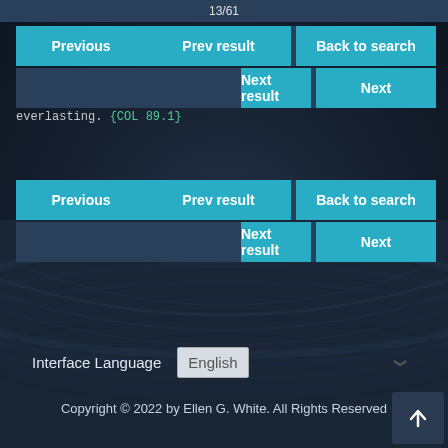13/61
Previous  Prev result  Back to search
Next result  Next
everlasting. {COL 89.1}
Previous  Prev result  Back to search
Next result  Next
Interface Language   English
Copyright © 2022 by Ellen G. White. All Rights Reserved